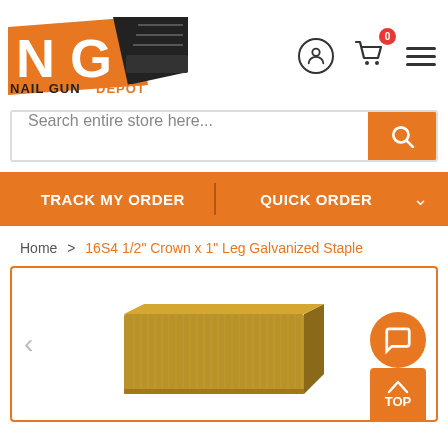[Figure (logo): Nail Gun Depot logo with orange NG letters and text NAIL GUN DEPOT]
Search entire store here...
TRACK MY ORDER | QUICK ORDER
Home > 16S4 1/2" Crown x 1" Leg Galvanized Staple
[Figure (photo): Product photo of galvanized staples bundle]